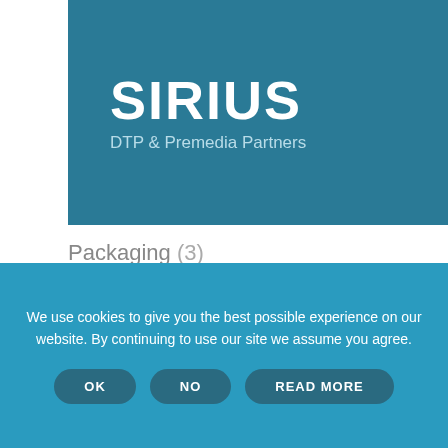[Figure (logo): Sirius DTP & Premedia Partners logo — white text on teal/dark cyan background]
Packaging (3)
Pharma (1)
Tags
Apple
artwork
Automatisatie
automatisation
catalogus
corona
EasyCatalog
packaging
We use cookies to give you the best possible experience on our website. By continuing to use our site we assume you agree.